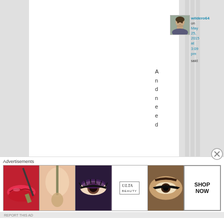[Figure (screenshot): Website comment section screenshot showing user avatar, username wildero64, date May 25 2015 at 3:09 pm, said:, and comment text 'Andneed' written vertically]
wildero64 on May 25, 2015 at 3:09 pm said:
Andneed
Advertisements
[Figure (screenshot): ULTA Beauty advertisement banner with makeup imagery and SHOP NOW call to action]